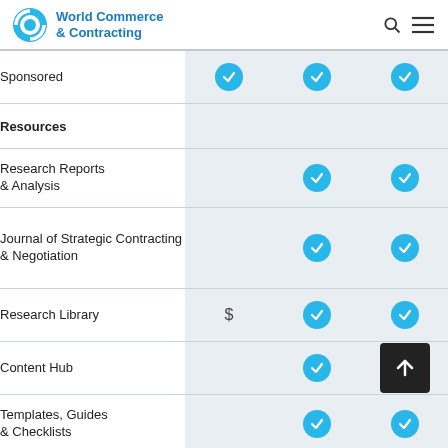World Commerce & Contracting
| Feature | Tier 1 | Tier 2 | Tier 3 |
| --- | --- | --- | --- |
| Sponsored | ✓ | ✓ | ✓ |
| Resources |  |  |  |
| Research Reports & Analysis |  | ✓ | ✓ |
| Journal of Strategic Contracting & Negotiation |  | ✓ | ✓ |
| Research Library | $ | ✓ | ✓ |
| Content Hub |  | ✓ | ↑ |
| Templates, Guides & Checklists |  | ✓ | ✓ |